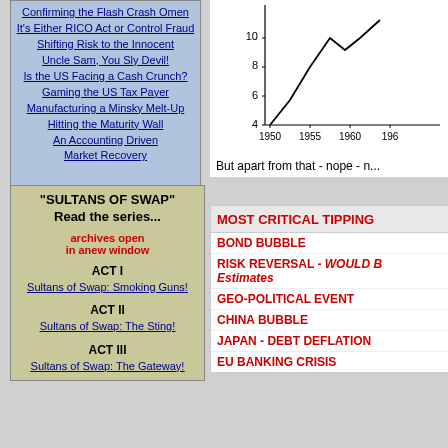Confirming the Flash Crash Omen
It's Either RICO Act or Control Fraud
Shifting Risk to the Innocent
Uncle Sam, You Sly Devil!
Is the US Facing a Cash Crunch?
Gaming the US Tax Payer
Manufacturing a Minsky Melt-Up
Hitting the Maturity Wall
An Accounting Driven
Market Recovery
"SULTANS OF SWAP" Read the series...
archives open in anew window
ACT I
Sultans of Swap: Smoking Guns!
ACT II
Sultans of Swap: The Sting!
ACT III
[Figure (line-chart): ]
But apart from that - nope - n...
MOST CRITICAL TIPPING
BOND BUBBLE
RISK REVERSAL - WOULD B... Estimates
GEO-POLITICAL EVENT
CHINA BUBBLE
JAPAN - DEBT DEFLATION
EU BANKING CRISIS